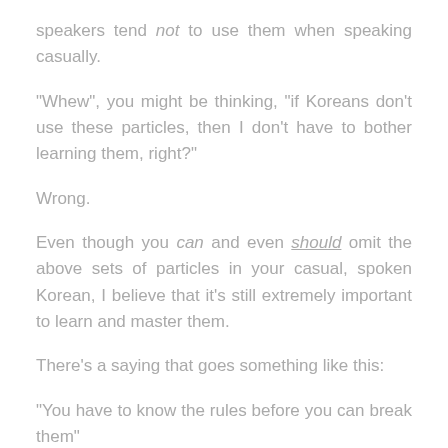speakers tend not to use them when speaking casually.
"Whew", you might be thinking, "if Koreans don't use these particles, then I don't have to bother learning them, right?"
Wrong.
Even though you can and even should omit the above sets of particles in your casual, spoken Korean, I believe that it's still extremely important to learn and master them.
There's a saying that goes something like this:
"You have to know the rules before you can break them"